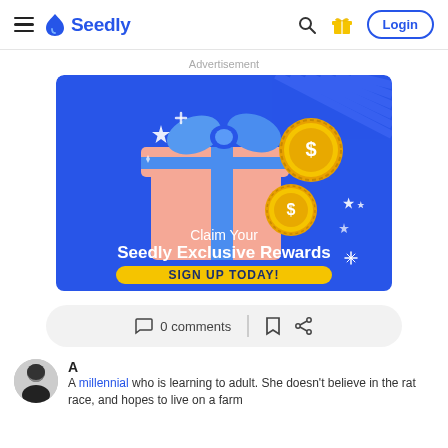Seedly — Login
Advertisement
[Figure (illustration): Seedly exclusive rewards advertisement banner. Blue background with an open gift box (pink/salmon color with blue ribbon), gold coins with dollar signs, and sparkle stars. Text reads 'Claim Your Seedly Exclusive Rewards' with a yellow 'SIGN UP TODAY!' button.]
0 comments
A millennial who is learning to adult. She doesn't believe in the rat race, and hopes to live on a farm